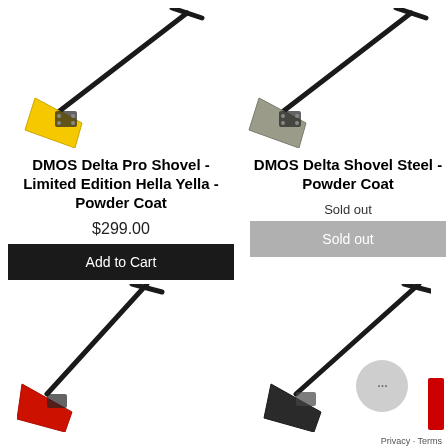[Figure (photo): DMOS Delta Pro Shovel Limited Edition Hella Yella - yellow shovel with black handle, diagonal orientation]
[Figure (photo): DMOS Delta Shovel Steel Powder Coat - steel/grey shovel with black handle, diagonal orientation]
DMOS Delta Pro Shovel - Limited Edition Hella Yella - Powder Coat
DMOS Delta Shovel Steel - Powder Coat
Sold out
$299.00
Add to Cart
Sold out
[Figure (photo): Red shovel with black handle, partial view at bottom left]
[Figure (photo): Dark/black shovel with black handle, partial view at bottom right, with chat bubble and privacy overlay]